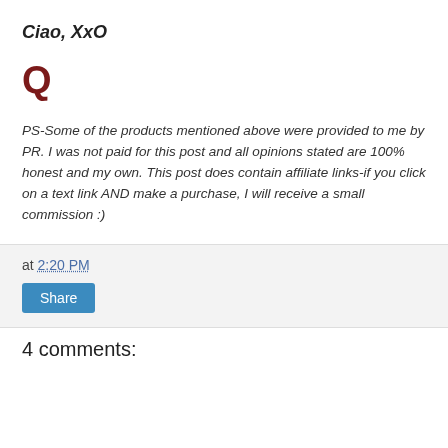Ciao, XxO
Q
PS-Some of the products mentioned above were provided to me by PR. I was not paid for this post and all opinions stated are 100% honest and my own. This post does contain affiliate links-if you click on a text link AND make a purchase, I will receive a small commission :)
at 2:20 PM
Share
4 comments: